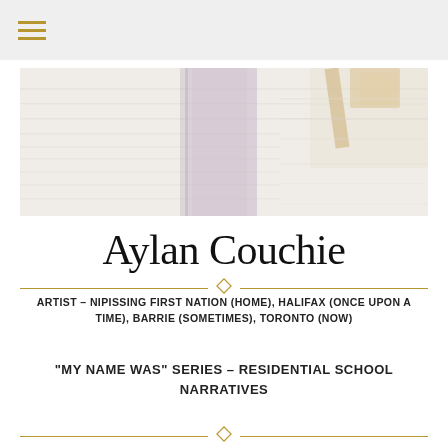[Figure (photo): Blurred close-up photograph of a white textured wall installation with a vertical purple/grey translucent panel and a wooden easel or structure in the upper right corner]
Aylan Couchie
ARTIST – NIPISSING FIRST NATION (HOME), HALIFAX (ONCE UPON A TIME), BARRIE (SOMETIMES), TORONTO (NOW)
“MY NAME WAS” SERIES – RESIDENTIAL SCHOOL NARRATIVES